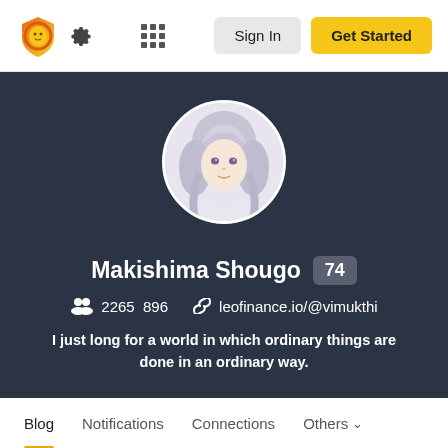[Figure (logo): LeoFinance lion logo in orange/gold gradient]
Sign In
Get Started
[Figure (illustration): Anime character profile avatar with white/silver hair]
Makishima Shougo 74
2265  896  leofinance.io/@vimukthi
I just long for a world in which ordinary things are done in an ordinary way.
Blog
Notifications
Connections
Others
reblogged